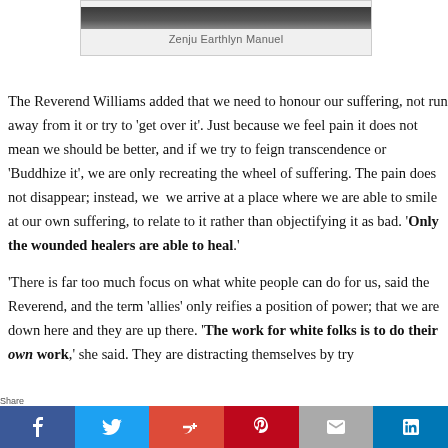Zenju Earthlyn Manuel
The Reverend Williams added that we need to honour our suffering, not run away from it or try to 'get over it'. Just because we feel pain it does not mean we should be better, and if we try to feign transcendence or 'Buddhize it', we are only recreating the wheel of suffering. The pain does not disappear; instead, we we arrive at a place where we are able to smile at our own suffering, to relate to it rather than objectifying it as bad. 'Only the wounded healers are able to heal.'
'There is far too much focus on what white people can do for us,' said the Reverend, and the term 'allies' only reifies a position of power; that we are down here and they are up there. 'The work for white folks is to do their own work,' she said. They are distracting themselves by try…
[Figure (other): Social media sharing buttons: Facebook, Twitter, Google+, Pinterest, Email, LinkedIn]